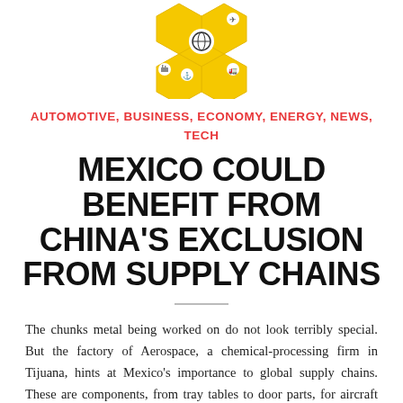[Figure (logo): Hexagonal supply chain / transportation themed logo with yellow background, showing icons for airplane, truck, factory, and ship in a honeycomb pattern]
AUTOMOTIVE, BUSINESS, ECONOMY, ENERGY, NEWS, TECH
MEXICO COULD BENEFIT FROM CHINA'S EXCLUSION FROM SUPPLY CHAINS
The chunks metal being worked on do not look terribly special. But the factory of Aerospace, a chemical-processing firm in Tijuana, hints at Mexico's importance to global supply chains. These are components, from tray tables to door parts, for aircraft made by